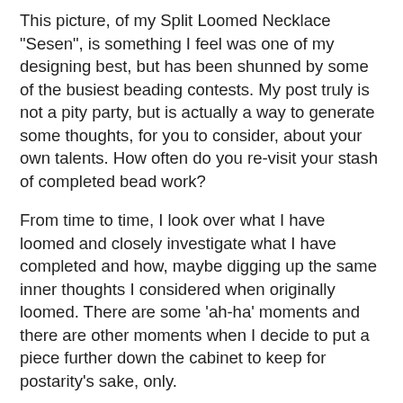This picture, of my Split Loomed Necklace "Sesen", is something I feel was one of my designing best, but has been shunned by some of the busiest beading contests. My post truly is not a pity party, but is actually a way to generate some thoughts, for you to consider, about your own talents. How often do you re-visit your stash of completed bead work?
From time to time, I look over what I have loomed and closely investigate what I have completed and how, maybe digging up the same inner thoughts I considered when originally loomed. There are some 'ah-ha' moments and there are other moments when I decide to put a piece further down the cabinet to keep for postarity's sake, only.
"Sesen", the SLN pictured above, is one I have scratched my head over. I think the looming techniques I incorporated were very new and different, but the additions of handwoven petals, all in the same stitch, is what makes this a 'simple', unmotivated design. Maybe I could have beaded each petal using various sized beads, various hand weaving stitches or not splashed the color through each petal to the point the